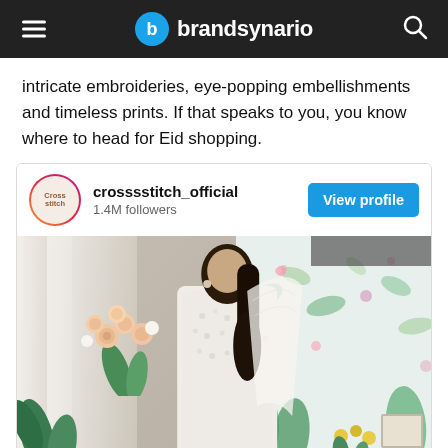brandsynario
intricate embroideries, eye-popping embellishments and timeless prints. If that speaks to you, you know where to head for Eid shopping.
[Figure (screenshot): Instagram embed card for crosssstitch_official with 1.4M followers and a View profile button, showing a woman in white embellished outfit holding a dupatta, surrounded by flowers and plants in a stylish interior setting.]